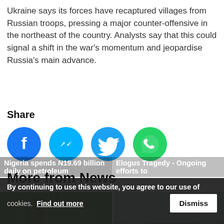Ukraine says its forces have recaptured villages from Russian troops, pressing a major counter-offensive in the northeast of the country. Analysts say that this could signal a shift in the war's momentum and jeopardise Russia's main advance.
Share
[Figure (infographic): Four social media share buttons: Facebook (blue circle), Messenger (cyan circle), Twitter (blue circle), WhatsApp (green circle)]
More from News
[Figure (photo): Photo of an industrial petroleum facility with workers in orange safety suits]
[Figure (photo): Photo of rocky coastline with waves and overcast sky]
Nigeria spends N19.69 billion daily on petroleum
Elogus Tragedy - Ongoing efforts to
By continuing to use this website, you agree to our use of cookies. Find out more
Dismiss